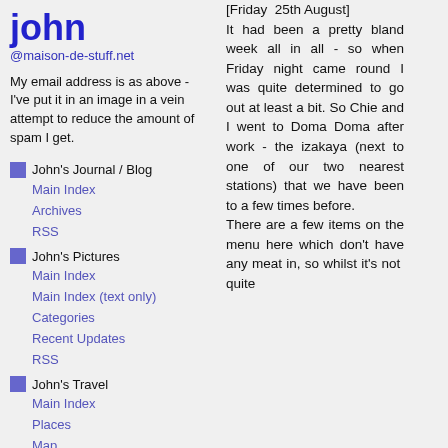john @maison-de-stuff.net
My email address is as above - I've put it in an image in a vein attempt to reduce the amount of spam I get.
John's Journal / Blog — Main Index, Archives, RSS
John's Pictures — Main Index, Main Index (text only), Categories, Recent Updates, RSS
John's Travel — Main Index, Places, Map, RSS
Other Related Sites: — Maison de Stuff, Stuffware, Exif.org, Chiesan, Celtlands
[Friday 25th August] It had been a pretty bland week all in all - so when Friday night came round I was quite determined to go out at least a bit. So Chie and I went to Doma Doma after work - the izakaya (next to one of our two nearest stations) that we have been to a few times before. There are a few items on the menu here which don't have any meat in, so whilst it's not quite